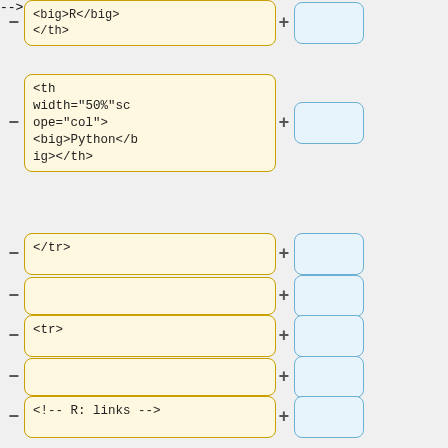[Figure (screenshot): A diff/comparison view showing HTML code snippets in left (yellow) and right (blue) panels with minus and plus signs indicating removed/added lines. Left panel shows HTML table code including th elements with big tags for R and Python, tr tags, td elements, and an HTML comment. Right panel shows corresponding empty blue boxes.]
<big>R</big></th>
<th width="50%"scope="col"><big>Python</big></th>
</tr>
<tr>
<!-- R: links -->
<td width="50%" valign="top">
*[http://www.r-project.org/ The R project for